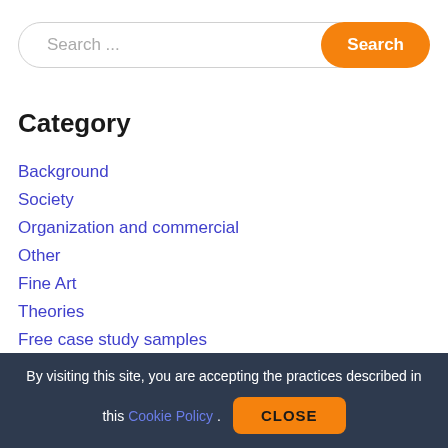Search ...
Category
Background
Society
Organization and commercial
Other
Fine Art
Theories
Free case study samples
Social problems
Your life
Life
Essay
By visiting this site, you are accepting the practices described in this Cookie Policy. CLOSE